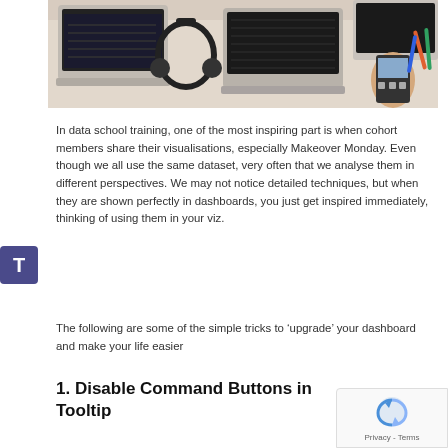[Figure (photo): Overhead shot of a desk with laptops, headphones, a smartphone, a calculator, and various office supplies with a person's hands visible]
In data school training, one of the most inspiring part is when cohort members share their visualisations, especially Makeover Monday. Even though we all use the same dataset, very often that we analyse them in different perspectives. We may not notice detailed techniques, but when they are shown perfectly in dashboards, you just get inspired immediately, thinking of using them in your viz.
The following are some of the simple tricks to ‘upgrade’ your dashboard and make your life easier
1. Disable Command Buttons in Tooltip